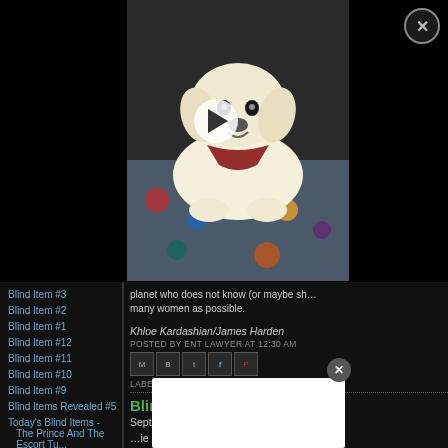[Figure (photo): Video thumbnail showing a golden retriever puppy lying on colorful fabric, with a play button overlay and X close button in top-right corner]
Blind Item #3
Blind Item #2
Blind Item #1
Blind Item #12
Blind Item #11
Blind Item #10
Blind Item #9
Blind Items Revealed #5
Today's Blind Items - The Prince And The Escort Tu...
Blin... (Revealed #4)
Bli...
planet who does not know (or maybe sh... many women as possible.
Khloe Kardashian/James Harden
POSTED BY ENT LAWYER AT 12:30 AM
LABELS: BLIND ITEMS REVEALED
Blind Items Revealed #2
September 16, 2015
...vie actor cr...